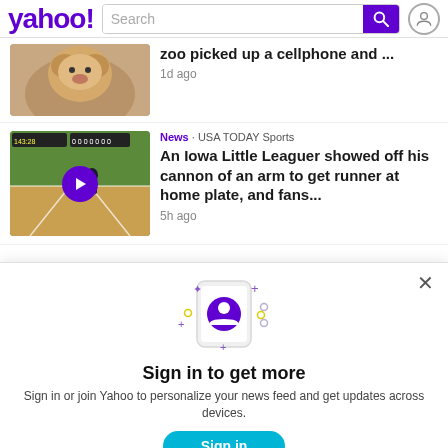[Figure (screenshot): Yahoo homepage header with logo, search bar, search button, and user icon]
zoo picked up a cellphone and ... 1d ago
News · USA TODAY Sports
An Iowa Little Leaguer showed off his cannon of an arm to get runner at home plate, and fans...
5h ago
Sign in to get more
Sign in or join Yahoo to personalize your news feed and get updates across devices.
Sign in